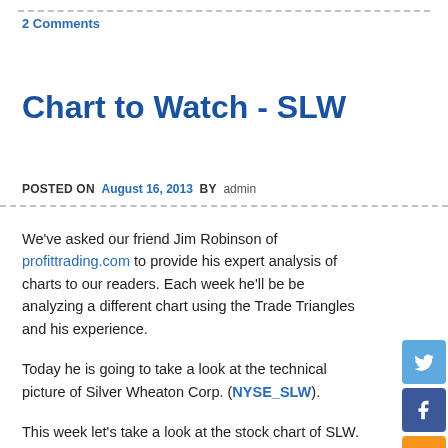2 Comments
Chart to Watch - SLW
POSTED ON  August 16, 2013  BY  admin
We've asked our friend Jim Robinson of profittrading.com to provide his expert analysis of charts to our readers. Each week he'll be be analyzing a different chart using the Trade Triangles and his experience.
Today he is going to take a look at the technical picture of Silver Wheaton Corp. (NYSE_SLW).
This week let's take a look at the stock chart of SLW.